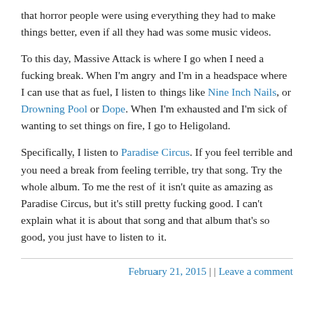that horror people were using everything they had to make things better, even if all they had was some music videos.
To this day, Massive Attack is where I go when I need a fucking break. When I'm angry and I'm in a headspace where I can use that as fuel, I listen to things like Nine Inch Nails, or Drowning Pool or Dope. When I'm exhausted and I'm sick of wanting to set things on fire, I go to Heligoland.
Specifically, I listen to Paradise Circus. If you feel terrible and you need a break from feeling terrible, try that song. Try the whole album. To me the rest of it isn't quite as amazing as Paradise Circus, but it's still pretty fucking good. I can't explain what it is about that song and that album that's so good, you just have to listen to it.
February 21, 2015  |  |  Leave a comment